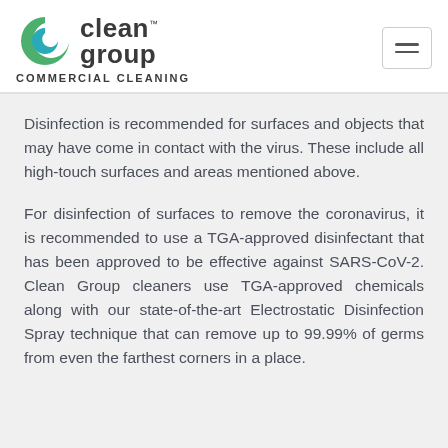[Figure (logo): Clean Group commercial cleaning logo with stylized C icon in green and blue, company name and tagline]
Disinfection is recommended for surfaces and objects that may have come in contact with the virus. These include all high-touch surfaces and areas mentioned above.
For disinfection of surfaces to remove the coronavirus, it is recommended to use a TGA-approved disinfectant that has been approved to be effective against SARS-CoV-2. Clean Group cleaners use TGA-approved chemicals along with our state-of-the-art Electrostatic Disinfection Spray technique that can remove up to 99.99% of germs from even the farthest corners in a place.